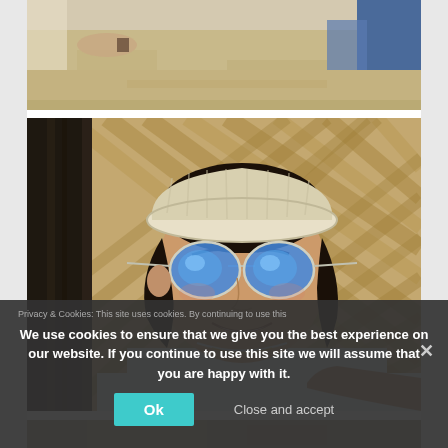[Figure (photo): Partial photo at top showing a sandy beach scene with hands/arms visible, cropped at top of page]
[Figure (photo): Young Asian man smiling, wearing blue reflective aviator sunglasses and a cream/white knit bucket hat, white t-shirt, with bamboo woven wall background and dark tree trunk to his left. Selfie-style photo taken outdoors.]
[Figure (photo): Partial bottom photo barely visible, brownish tones]
Privacy & Cookies: This site uses cookies. By continuing to use this
We use cookies to ensure that we give you the best experience on our website. If you continue to use this site we will assume that you are happy with it.
Ok
Close and accept